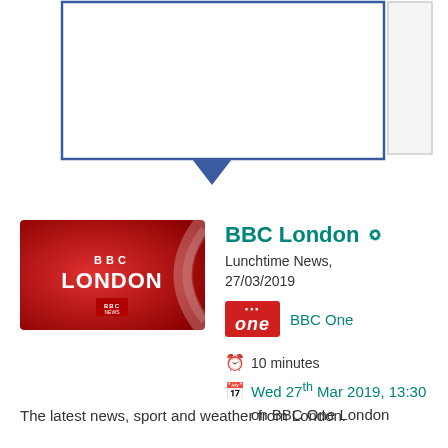[Figure (screenshot): Top portion of a webpage showing a speech bubble / popover box with blue border and downward pointing arrow, and a grey sidebar box to the right]
[Figure (photo): BBC London programme thumbnail - red background with BBC London branding logo in white]
BBC London
Lunchtime News, 27/03/2019
[Figure (logo): BBC One red logo badge]
BBC One
10 minutes
Wed 27th Mar 2019, 13:30 on BBC One London
The latest news, sport and weather from London.